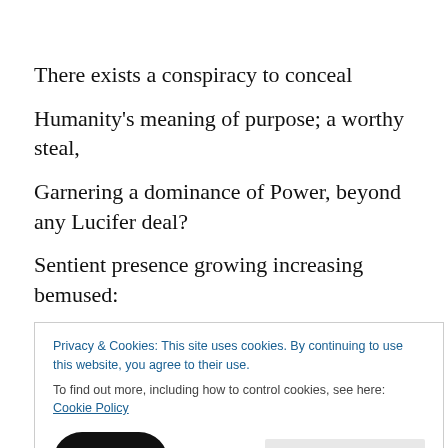There exists a conspiracy to conceal
Humanity's meaning of purpose; a worthy steal,
Garnering a dominance of Power, beyond  any Lucifer deal?
Sentient presence growing increasing bemused:
Are their energies by Existence, being nefariously used?
Do unseen forces promote information to delude
In order to attain global power for control and abuse?
Privacy & Cookies: This site uses cookies. By continuing to use this website, you agree to their use.
To find out more, including how to control cookies, see here: Cookie Policy
sown.